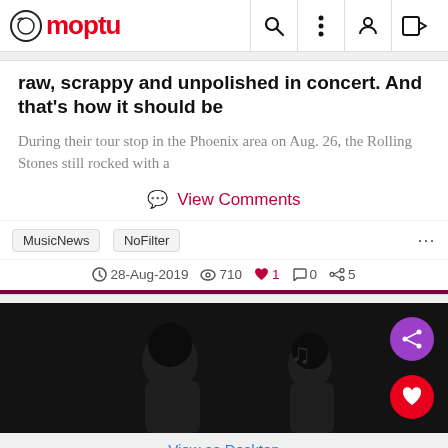Moptu
raw, scrappy and unpolished in concert. And that's how it should be
During their tour stop in the Phoenix area on Aug. 26, the Rolling Stones still rocked with a
View Comments
MusicNews  NoFilter
28-Aug-2019  710  1  0  5
[Figure (photo): Black and white photo of Rolling Stones musicians performing on stage]
View as Desktop